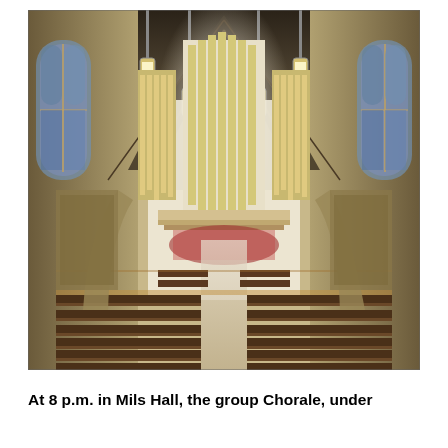[Figure (photo): Interior of a grand Gothic-style church hall (Mils Hall) photographed from the rear looking toward the altar. The nave features rows of dark wooden pews on both sides of a central aisle leading to an ornate altar with a large pipe organ behind it. Tall stained glass windows line both sides. Hanging pendant lanterns illuminate the vaulted ceiling with ribbed Gothic arches.]
At 8 p.m. in Mils Hall, the group Chorale, under